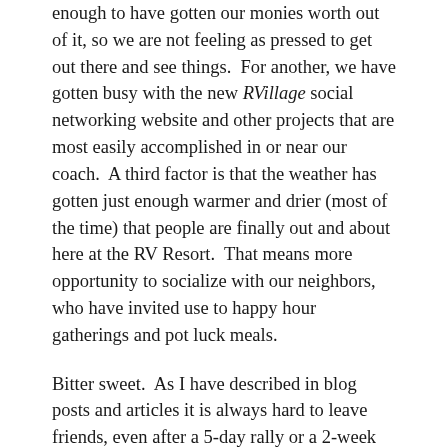enough to have gotten our monies worth out of it, so we are not feeling as pressed to get out there and see things.  For another, we have gotten busy with the new RVillage social networking website and other projects that are most easily accomplished in or near our coach.  A third factor is that the weather has gotten just enough warmer and drier (most of the time) that people are finally out and about here at the RV Resort.  That means more opportunity to socialize with our neighbors, who have invited use to happy hour gatherings and pot luck meals.
Bitter sweet.  As I have described in blog posts and articles it is always hard to leave friends, even after a 5-day rally or a 2-week HFH build.  We have been here for almost three months.  Folks are asking if we are coming back next year and we have had to tell them “no.”  That deserves an explanation.  It’s our first snowbird season and there is a lot of North America that we still need to see.  We simply cannot decide to return to the first place we have spent the winter